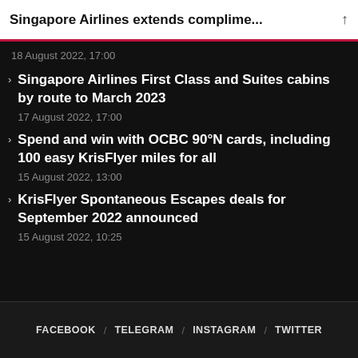Singapore Airlines extends complime...
18 August 2022, 17:00
Singapore Airlines First Class and Suites cabins by route to March 2023
17 August 2022, 17:00
Spend and win with OCBC 90°N cards, including 100 easy KrisFlyer miles for all
15 August 2022, 13:00
KrisFlyer Spontaneous Escapes deals for September 2022 announced
15 August 2022, 10:25
FACEBOOK / TELEGRAM / INSTAGRAM / TWITTER